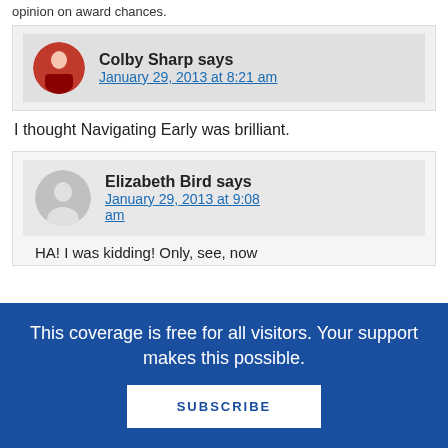opinion on award chances.
Colby Sharp says
January 29, 2013 at 8:21 am
I thought Navigating Early was brilliant.
Elizabeth Bird says
January 29, 2013 at 9:08 am
HA! I was kidding! Only, see, now
This coverage is free for all visitors. Your support makes this possible.
SUBSCRIBE